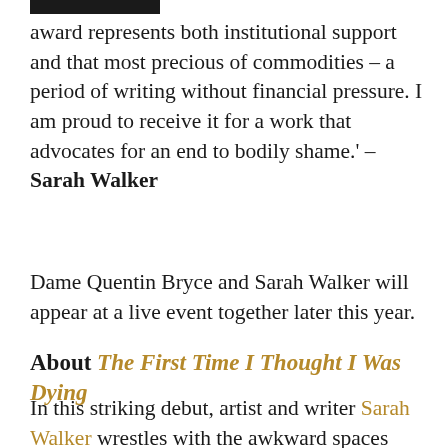[Figure (other): Black horizontal bar at top of page, partially visible]
award represents both institutional support and that most precious of commodities – a period of writing without financial pressure. I am proud to receive it for a work that advocates for an end to bodily shame.' – Sarah Walker
Dame Quentin Bryce and Sarah Walker will appear at a live event together later this year.
About The First Time I Thought I Was Dying
In this striking debut, artist and writer Sarah Walker wrestles with the awkward spaces